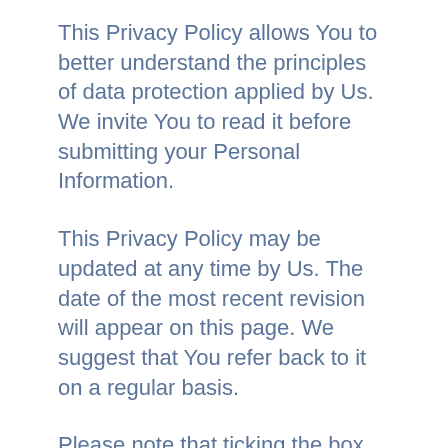This Privacy Policy allows You to better understand the principles of data protection applied by Us. We invite You to read it before submitting your Personal Information.
This Privacy Policy may be updated at any time by Us. The date of the most recent revision will appear on this page. We suggest that You refer back to it on a regular basis.
Please note that ticking the box below, You authorise Us to collect, record, organize, store, use and/or transfer your Personal Information according to this Privacy Policy.
2 - When does Wesolve4x collect your Personal Information?